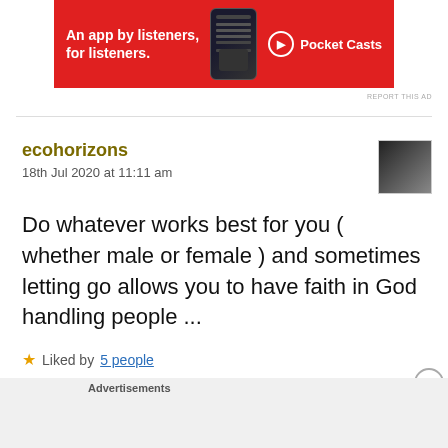[Figure (screenshot): Pocket Casts advertisement banner: red background with text 'An app by listeners, for listeners.' and Pocket Casts logo]
REPORT THIS AD
ecohorizons
18th Jul 2020 at 11:11 am
Do whatever works best for you ( whether male or female ) and sometimes letting go allows you to have faith in God handling people ...
★ Liked by 5 people
Advertisements
[Figure (screenshot): DuckDuckGo advertisement: orange-brown background with text 'Search, browse, and email with more privacy. All in One Free App' and DuckDuckGo logo on phone]